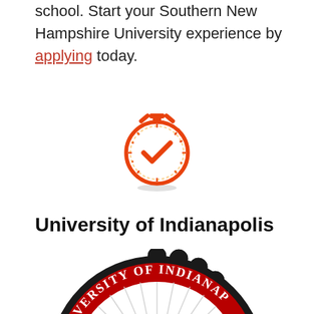school. Start your Southern New Hampshire University experience by applying today.
[Figure (logo): Stopwatch icon with orange gradient and a checkmark in the center]
University of Indianapolis
[Figure (logo): University of Indianapolis circular seal/logo with red and black scalloped border, radiating white lines, and red torch in center, partially cropped]